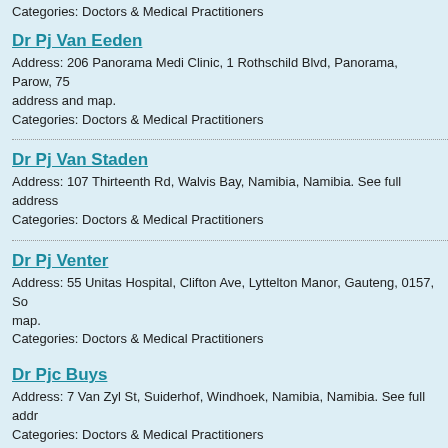Categories: Doctors & Medical Practitioners
Dr Pj Van Eeden
Address: 206 Panorama Medi Clinic, 1 Rothschild Blvd, Panorama, Parow, 75 address and map.
Categories: Doctors & Medical Practitioners
Dr Pj Van Staden
Address: 107 Thirteenth Rd, Walvis Bay, Namibia, Namibia. See full address
Categories: Doctors & Medical Practitioners
Dr Pj Venter
Address: 55 Unitas Hospital, Clifton Ave, Lyttelton Manor, Gauteng, 0157, So map.
Categories: Doctors & Medical Practitioners
Dr Pjc Buys
Address: 7 Van Zyl St, Suiderhof, Windhoek, Namibia, Namibia. See full addr
Categories: Doctors & Medical Practitioners
Dr Pjd Van Der Wouden
Address: 6 A Zuidend St, Piet Retief, 2380, South Africa, Mpumalanga. See f
Categories: Doctors & Medical Practitioners